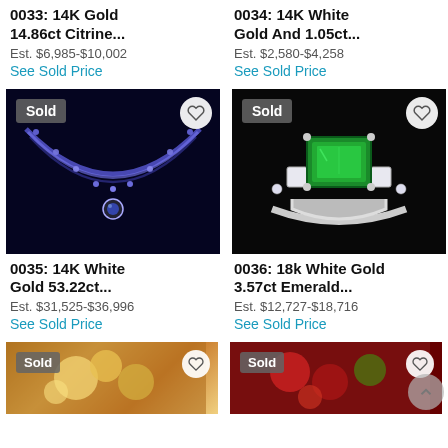0033: 14K Gold 14.86ct Citrine...
Est. $6,985-$10,002
See Sold Price
0034: 14K White Gold And 1.05ct...
Est. $2,580-$4,258
See Sold Price
[Figure (photo): Sapphire tennis necklace with oval pendant on black background, marked Sold]
[Figure (photo): 18k white gold emerald and diamond ring on black background, marked Sold]
0035: 14K White Gold 53.22ct...
Est. $31,525-$36,996
See Sold Price
0036: 18k White Gold 3.57ct Emerald...
Est. $12,727-$18,716
See Sold Price
[Figure (photo): Gold floral gemstone brooch/ring, partially visible, marked Sold]
[Figure (photo): Multi-colored gemstone piece with ruby and green stones, partially visible, marked Sold]